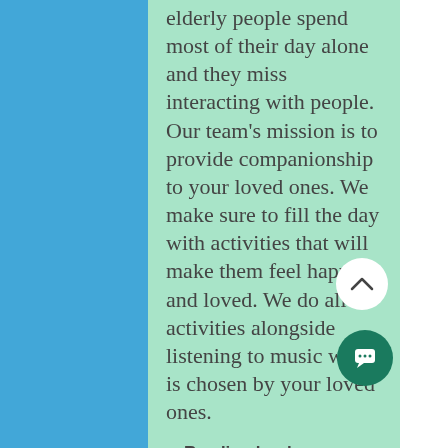elderly people spend most of their day alone and they miss interacting with people. Our team's mission is to provide companionship to your loved ones. We make sure to fill the day with activities that will make them feel happy and loved. We do all activities alongside listening to music which is chosen by your loved ones.
Reading books
Sharing stories
Playing games
Taking walks
Meal preparation
Shopping
Gardening